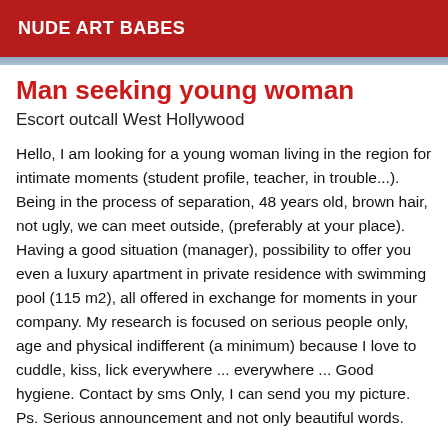NUDE ART BABES
Man seeking young woman
Escort outcall West Hollywood
Hello, I am looking for a young woman living in the region for intimate moments (student profile, teacher, in trouble...). Being in the process of separation, 48 years old, brown hair, not ugly, we can meet outside, (preferably at your place). Having a good situation (manager), possibility to offer you even a luxury apartment in private residence with swimming pool (115 m2), all offered in exchange for moments in your company. My research is focused on serious people only, age and physical indifferent (a minimum) because I love to cuddle, kiss, lick everywhere ... everywhere ... Good hygiene. Contact by sms Only, I can send you my picture. Ps. Serious announcement and not only beautiful words.